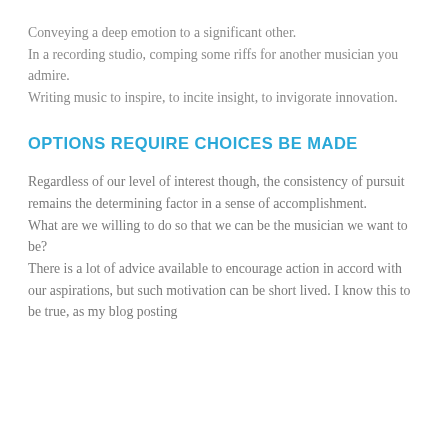Conveying a deep emotion to a significant other.
In a recording studio, comping some riffs for another musician you admire.
Writing music to inspire, to incite insight, to invigorate innovation.
OPTIONS REQUIRE CHOICES BE MADE
Regardless of our level of interest though, the consistency of pursuit remains the determining factor in a sense of accomplishment.
What are we willing to do so that we can be the musician we want to be?
There is a lot of advice available to encourage action in accord with our aspirations, but such motivation can be short lived. I know this to be true, as my blog posting